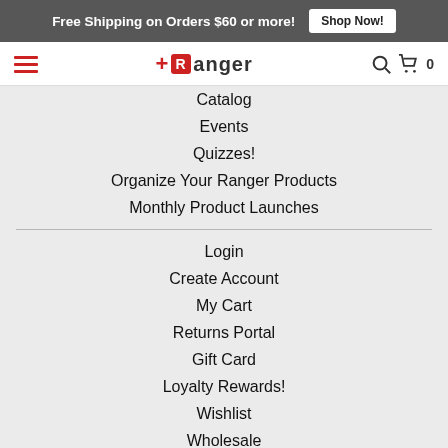Free Shipping on Orders $60 or more! Shop Now!
[Figure (logo): Ranger Ink logo with hamburger menu, search icon, and cart icon showing 0 items]
Catalog
Events
Quizzes!
Organize Your Ranger Products
Monthly Product Launches
Login
Create Account
My Cart
Returns Portal
Gift Card
Loyalty Rewards!
Wishlist
Wholesale
Distress Paint 2022